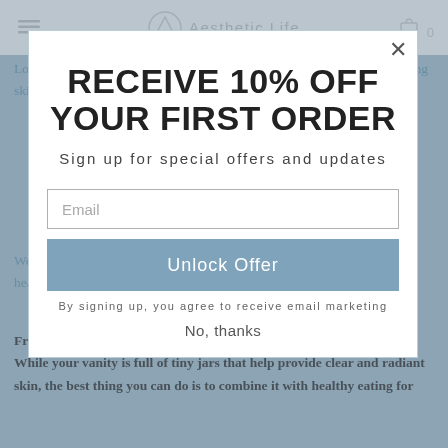Aesthetic Life
Lotions and creams are fine, but have you tried kiwi and salmon for glowing skin? Find out about aesthetic food that promises healthy skin.
RECEIVE 10% OFF YOUR FIRST ORDER
Sign up for special offers and updates
Email
Unlock Offer
By signing up, you agree to receive email marketing
No, thanks
We have often heard 'you are what you eat.' Cliche for sure, but eating healthy food regularly can absolutely have a positive effect on your skin.
From body lotion to anti-aging creams, we all have a skincare routine. While your vanity is full of tiny jars that help provide clear and radiant skin, the best thing you can do is to combine it with healthy eating for